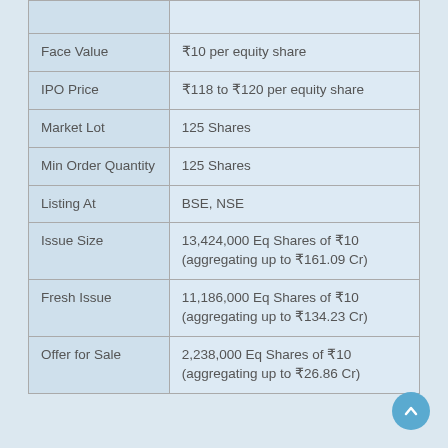| Field | Value |
| --- | --- |
| Face Value | ₹10 per equity share |
| IPO Price | ₹118 to ₹120 per equity share |
| Market Lot | 125 Shares |
| Min Order Quantity | 125 Shares |
| Listing At | BSE, NSE |
| Issue Size | 13,424,000 Eq Shares of ₹10 (aggregating up to ₹161.09 Cr) |
| Fresh Issue | 11,186,000 Eq Shares of ₹10 (aggregating up to ₹134.23 Cr) |
| Offer for Sale | 2,238,000 Eq Shares of ₹10 (aggregating up to ₹26.86 Cr) |